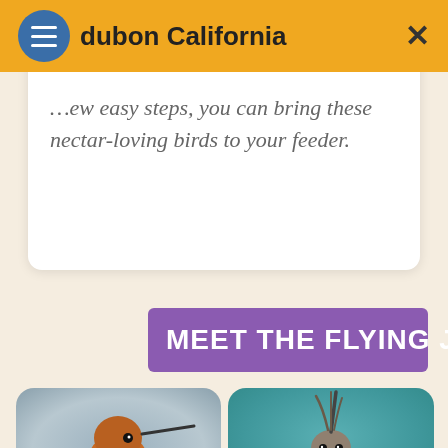Audubon California
…ew easy steps, you can bring these nectar-loving birds to your feeder.
MEET THE FLYING JEWELS
[Figure (photo): Close-up photo of a rufous hummingbird with orange-red throat feathers against a blue-grey blurred background]
[Figure (photo): Close-up photo of a hummingbird from the front with a long bill pointing upward against a teal blurred background]